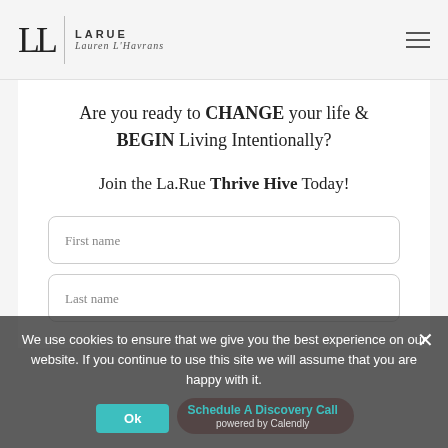LL | LARUE Lauren L'Havrans
Are you ready to CHANGE your life & BEGIN Living Intentionally?
Join the La.Rue Thrive Hive Today!
First name
Last name
Email
We use cookies to ensure that we give you the best experience on our website. If you continue to use this site we will assume that you are happy with it.
Schedule A Discovery Call powered by Calendly
Ok